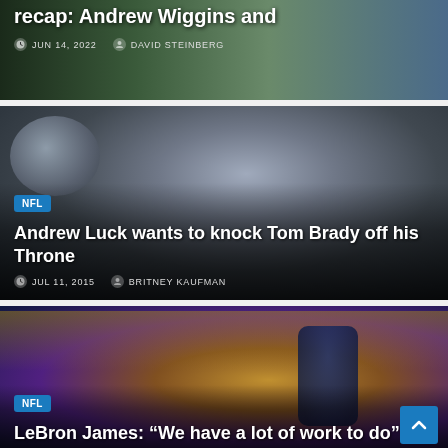[Figure (photo): Partial sports article card showing basketball game photo (top cropped), article title partial 'recap: Andrew Wiggins and', date JUN 14, 2022, author DAVID STEINBERG]
recap: Andrew Wiggins and
JUN 14, 2022   DAVID STEINBERG
[Figure (photo): NFL article card with photo of Andrew Luck in football uniform looking determined, with tag NFL, title 'Andrew Luck wants to knock Tom Brady off his Throne', date JUL 11, 2015, author BRITNEY KAUFMAN]
Andrew Luck wants to knock Tom Brady off his Throne
JUL 11, 2015   BRITNEY KAUFMAN
[Figure (photo): NFL article card with photo of LeBron James in Cavaliers CAVS jersey #23 with crowd in yellow behind, tag NFL, partial title 'LeBron James: "We have a lot of work to do"']
LeBron James: “We have a lot of work to do”